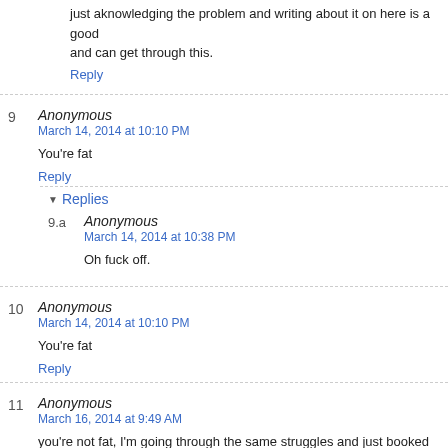just aknowledging the problem and writing about it on here is a good and can get through this.
Reply
9 Anonymous
March 14, 2014 at 10:10 PM
You're fat
Reply
Replies
9.a Anonymous
March 14, 2014 at 10:38 PM
Oh fuck off.
10 Anonymous
March 14, 2014 at 10:10 PM
You're fat
Reply
11 Anonymous
March 16, 2014 at 9:49 AM
you're not fat, I'm going through the same struggles and just booked